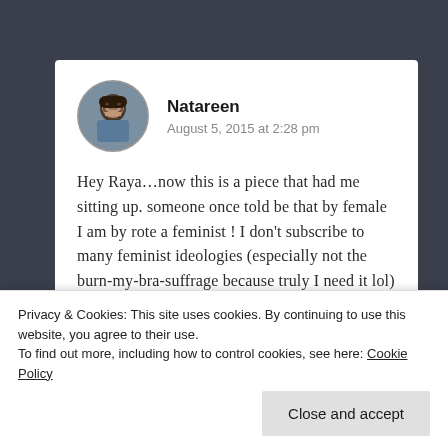Natareen
August 5, 2015 at 2:28 pm
Hey Raya…now this is a piece that had me sitting up. someone once told be that by female I am by rote a feminist ! I don't subscribe to many feminist ideologies (especially not the burn-my-bra-suffrage because truly I need it lol) therefore
Privacy & Cookies: This site uses cookies. By continuing to use this website, you agree to their use.
To find out more, including how to control cookies, see here: Cookie Policy
Close and accept